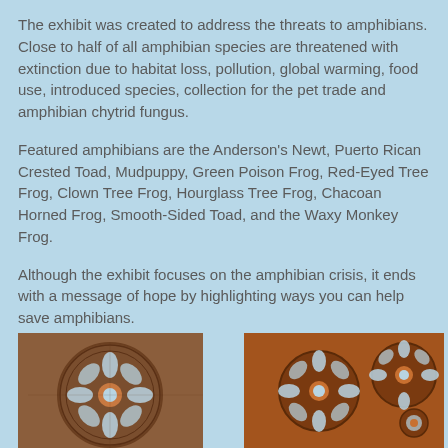The exhibit was created to address the threats to amphibians. Close to half of all amphibian species are threatened with extinction due to habitat loss, pollution, global warming, food use, introduced species, collection for the pet trade and amphibian chytrid fungus.
Featured amphibians are the Anderson's Newt, Puerto Rican Crested Toad, Mudpuppy, Green Poison Frog, Red-Eyed Tree Frog, Clown Tree Frog, Hourglass Tree Frog, Chacoan Horned Frog, Smooth-Sided Toad, and the Waxy Monkey Frog.
Although the exhibit focuses on the amphibian crisis, it ends with a message of hope by highlighting ways you can help save amphibians.
[Figure (photo): Close-up photo of a decorative carved circular pattern resembling a wooden or ceramic disc with flower/rosette design in earth tones (brown, orange, light blue)]
[Figure (photo): Close-up photo of a similar decorative carved circular pattern with rosette/flower designs, featuring orange and brown colors with light blue cutouts]